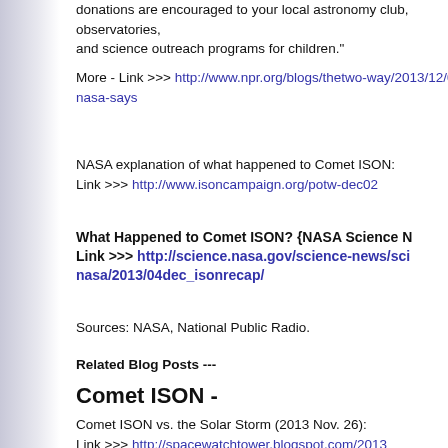donations are encouraged to your local astronomy club, observatories, and science outreach programs for children."
More - Link >>> http://www.npr.org/blogs/thetwo-way/2013/12/0... nasa-says
NASA explanation of what happened to Comet ISON:
Link >>> http://www.isoncampaign.org/potw-dec02
What Happened to Comet ISON?  {NASA Science N...}
Link >>> http://science.nasa.gov/science-news/sci... nasa/2013/04dec_isonrecap/
Sources: NASA, National Public Radio.
Related Blog Posts ---
Comet ISON -
Comet ISON vs. the Solar Storm  (2013 Nov. 26):
Link >>> http://spacewatchtower.blogspot.com/2013... storm.html